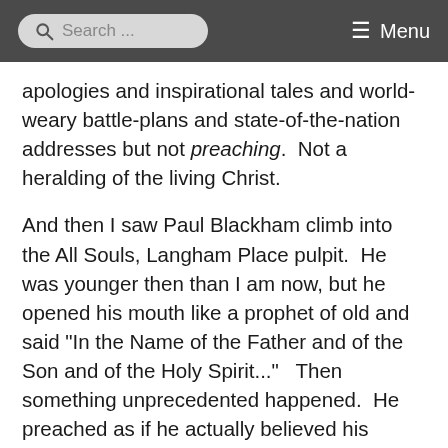Search ... Menu
apologies and inspirational tales and world-weary battle-plans and state-of-the-nation addresses but not preaching.  Not a heralding of the living Christ.
And then I saw Paul Blackham climb into the All Souls, Langham Place pulpit.  He was younger then than I am now, but he opened his mouth like a prophet of old and said "In the Name of the Father and of the Son and of the Holy Spirit..."   Then something unprecedented happened.  He preached as if he actually believed his introduction.  He spoke as one speaking the very words of God (1 Peter 4:11).  He didn't weary me with the debates of the commentators, he didn't show off his knowledge of